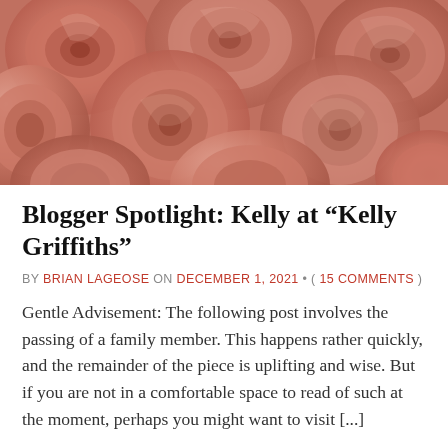[Figure (photo): Close-up photo of many pink/salmon-colored roses filling the entire frame]
Blogger Spotlight: Kelly at “Kelly Griffiths”
BY BRIAN LAGEOSE ON DECEMBER 1, 2021 • ( 15 COMMENTS )
Gentle Advisement: The following post involves the passing of a family member. This happens rather quickly, and the remainder of the piece is uplifting and wise. But if you are not in a comfortable space to read of such at the moment, perhaps you might want to visit [...]